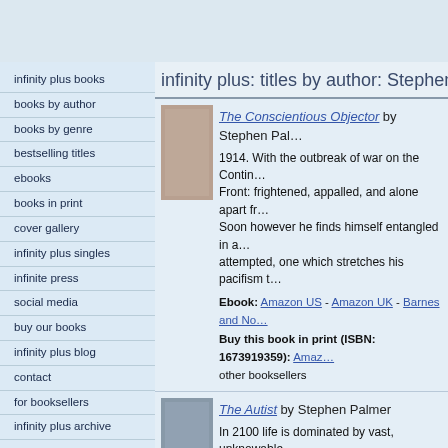infinity plus: titles by author: Stephen Palmer
infinity plus books
books by author
books by genre
bestselling titles
ebooks
books in print
cover gallery
infinity plus singles
infinite press
social media
buy our books
infinity plus blog
contact
for booksellers
infinity plus archive
NEWSLETTER
The Conscientious Objector by Stephen Palmer
1914. With the outbreak of war on the Continent, a Front: frightened, appalled, and alone apart from. Soon however he finds himself entangled in a attempted, one which stretches his pacifism t
Ebook: Amazon US - Amazon UK - Barnes and No
Buy this book in print (ISBN: 1673919359): Amaz other booksellers
The Autist by Stephen Palmer
In 2100 life is dominated by vast, unknowable every society they touch. When suspicions of a detective, a rebel monk, and a carer and her